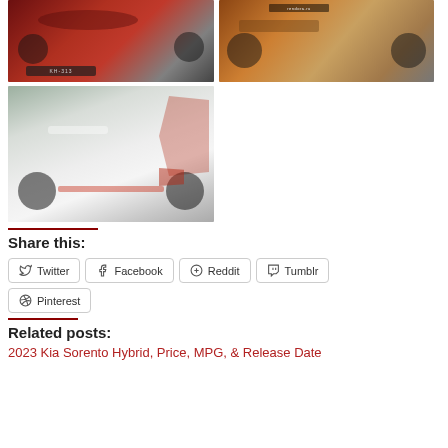[Figure (photo): Red Kia SUV front view driving on road]
[Figure (photo): Bronze/orange Kia SUV front 3/4 view render]
[Figure (photo): White Kia Sorento rear 3/4 view]
Share this:
Twitter  Facebook  Reddit  Tumblr  Pinterest
Related posts:
2023 Kia Sorento Hybrid, Price, MPG, & Release Date